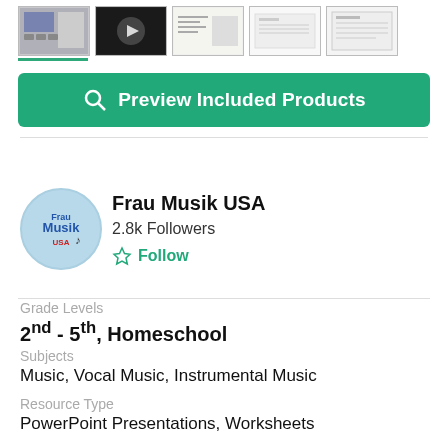[Figure (screenshot): Row of 5 thumbnail images of included products, first one highlighted with green underline bar]
Preview Included Products
[Figure (logo): Frau Musik USA circular logo badge in blue]
Frau Musik USA
2.8k Followers
Follow
Grade Levels
2nd - 5th, Homeschool
Subjects
Music, Vocal Music, Instrumental Music
Resource Type
PowerPoint Presentations, Worksheets